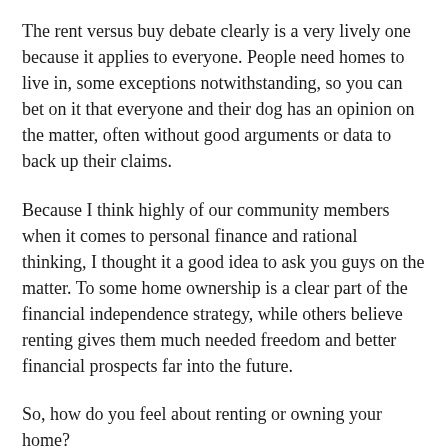The rent versus buy debate clearly is a very lively one because it applies to everyone. People need homes to live in, some exceptions notwithstanding, so you can bet on it that everyone and their dog has an opinion on the matter, often without good arguments or data to back up their claims.
Because I think highly of our community members when it comes to personal finance and rational thinking, I thought it a good idea to ask you guys on the matter. To some home ownership is a clear part of the financial independence strategy, while others believe renting gives them much needed freedom and better financial prospects far into the future.
So, how do you feel about renting or owning your home?